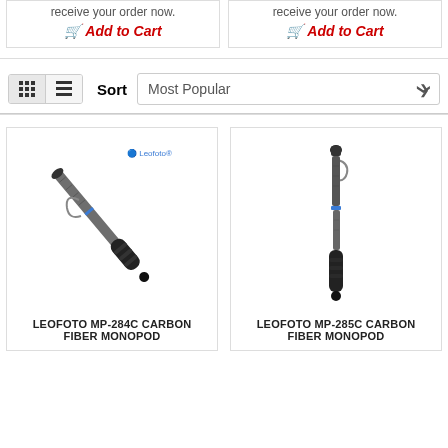receive your order now.
Add to Cart
receive your order now.
Add to Cart
Sort
Most Popular
[Figure (photo): Leofoto MP-284C Carbon Fiber Monopod, diagonal orientation, dark gray carbon fiber tube with black grip sections and wrist strap, Leofoto logo visible]
LEOFOTO MP-284C CARBON FIBER MONOPOD
[Figure (photo): Leofoto MP-285C Carbon Fiber Monopod, vertical orientation, dark gray carbon fiber tube with black grip sections, blue accent band, and wrist strap]
LEOFOTO MP-285C CARBON FIBER MONOPOD